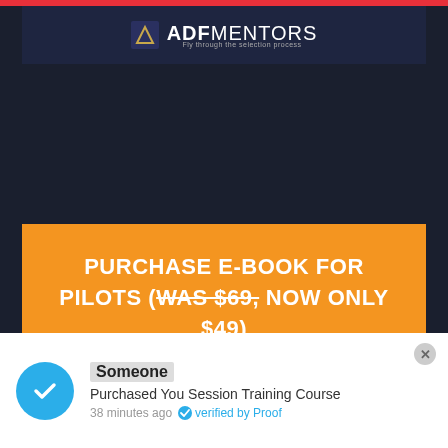[Figure (logo): ADF Mentors logo on dark navy background with red top stripe]
PURCHASE E-BOOK FOR PILOTS (WAS $69, NOW ONLY $49)
The Process
The Recruitment Process
Someone
Purchased You Session Training Course
38 minutes ago  verified by Proof